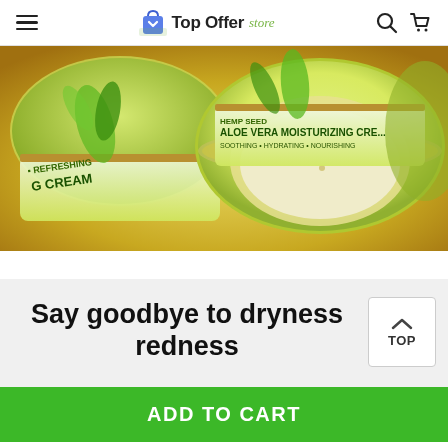Top Offer store
[Figure (photo): Close-up photo of two green Aloe Vera moisturizing cream jars with aloe vera leaf imagery on the labels, text reads 'G CREAM', 'ALOE VERA MOISTURIZING CREAM', 'SOOTHING • HYDRATING • NOURISHING']
Say goodbye to dryness redness
ADD TO CART